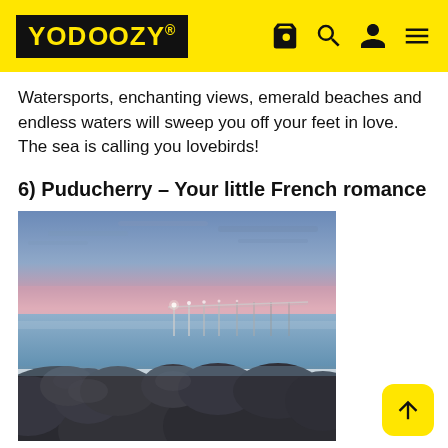YODOOZY® [navigation icons: bag, search, user, menu]
Watersports, enchanting views, emerald beaches and endless waters will sweep you off your feet in love. The sea is calling you lovebirds!
6) Puducherry – Your little French romance
[Figure (photo): Twilight/dusk photo of Puducherry coastline: large dark rocks in foreground, calm sea water, a long pier with lights extending into the distance, pink and blue sky at dusk.]